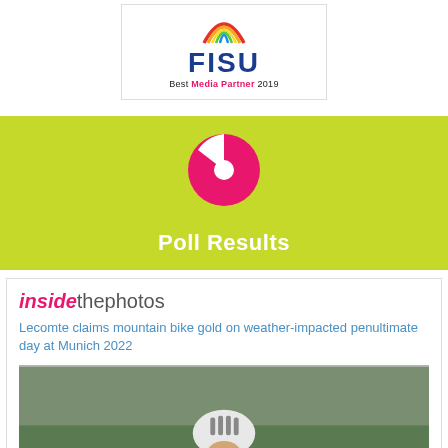[Figure (logo): FISU Best Media Partner 2019 badge with rainbow arc logo]
[Figure (infographic): Poll Results banner with green/lime background and pink pie chart icon]
insidethephotos
Lecomte claims mountain bike gold on weather-impacted penultimate day at Munich 2022
[Figure (photo): Female mountain bike cyclist in SKF jersey and white helmet racing]